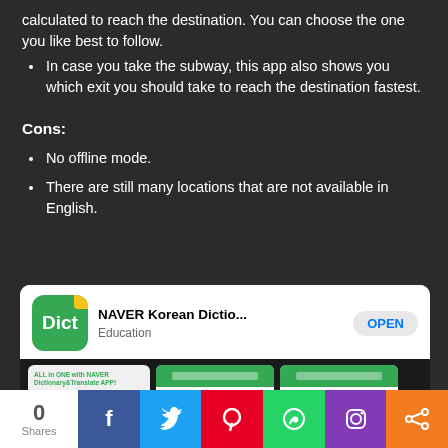calculated to reach the destination. You can choose the one you like best to follow.
In case you take the subway, this app also shows you which exit you should take to reach the destination fastest.
Cons:
No offline mode.
There are still many locations that are not available in English.
[Figure (screenshot): NAVER Korean Dictionary app store listing showing app icon (green with 'Dict' text), app name 'NAVER Korean Dictio...', category 'Education', and 'OPEN' button, along with app screenshots below.]
0 Shares | Facebook | Twitter | Pinterest | WhatsApp | Instagram | Share